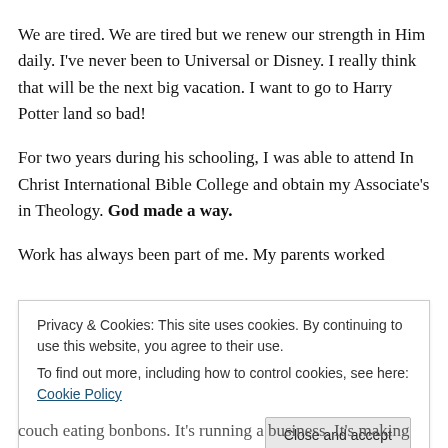We are tired. We are tired but we renew our strength in Him daily. I've never been to Universal or Disney. I really think that will be the next big vacation. I want to go to Harry Potter land so bad!
For two years during his schooling, I was able to attend In Christ International Bible College and obtain my Associate's in Theology. God made a way.
Work has always been part of me. My parents worked
Privacy & Cookies: This site uses cookies. By continuing to use this website, you agree to their use.
To find out more, including how to control cookies, see here: Cookie Policy
Close and accept
couch eating bonbons. It's running a business. It's making